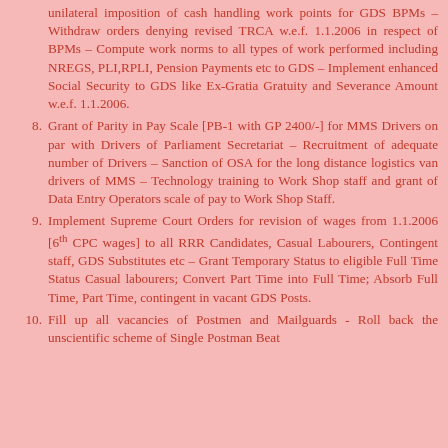unilateral imposition of cash handling work points for GDS BPMs – Withdraw orders denying revised TRCA w.e.f. 1.1.2006 in respect of BPMs – Compute work norms to all types of work performed including NREGS, PLI,RPLI, Pension Payments etc to GDS – Implement enhanced Social Security to GDS like Ex-Gratia Gratuity and Severance Amount w.e.f. 1.1.2006.
8. Grant of Parity in Pay Scale [PB-1 with GP 2400/-] for MMS Drivers on par with Drivers of Parliament Secretariat – Recruitment of adequate number of Drivers – Sanction of OSA for the long distance logistics van drivers of MMS – Technology training to Work Shop staff and grant of Data Entry Operators scale of pay to Work Shop Staff.
9. Implement Supreme Court Orders for revision of wages from 1.1.2006 [6th CPC wages] to all RRR Candidates, Casual Labourers, Contingent staff, GDS Substitutes etc – Grant Temporary Status to eligible Full Time Status Casual labourers; Convert Part Time into Full Time; Absorb Full Time, Part Time, contingent in vacant GDS Posts.
10. Fill up all vacancies of Postmen and Mailguards - Roll back the unscientific scheme of Single Postman Beat